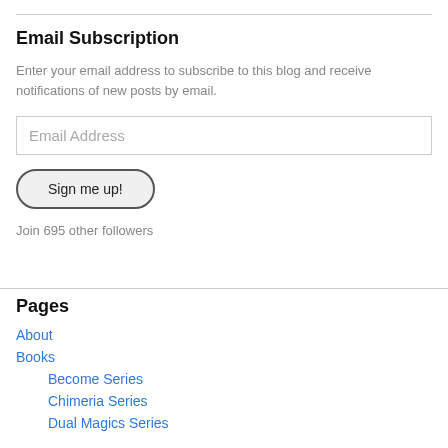Email Subscription
Enter your email address to subscribe to this blog and receive notifications of new posts by email.
Email Address
Sign me up!
Join 695 other followers
Pages
About
Books
Become Series
Chimeria Series
Dual Magics Series